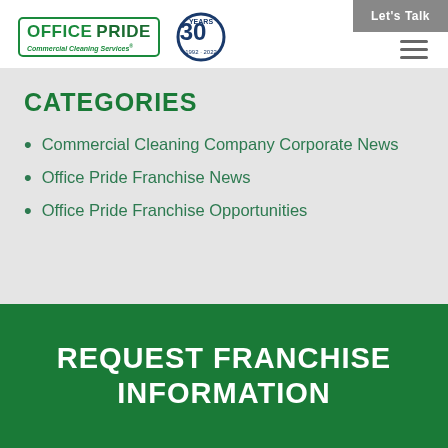Let's Talk
[Figure (logo): Office Pride Commercial Cleaning Services logo with 30 Years badge (1992-2022)]
CATEGORIES
Commercial Cleaning Company Corporate News
Office Pride Franchise News
Office Pride Franchise Opportunities
REQUEST FRANCHISE INFORMATION